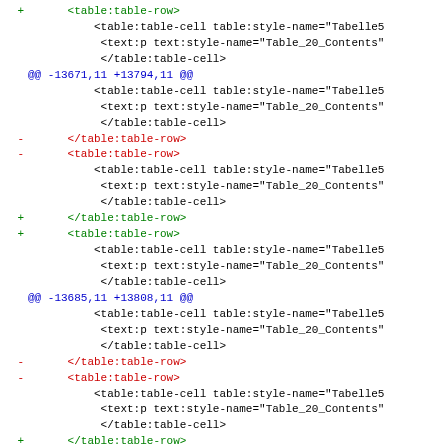Diff/patch code block showing XML table-row and table-cell changes with @@ hunk headers
@@ -13671,11 +13794,11 @@
@@ -13685,11 +13808,11 @@